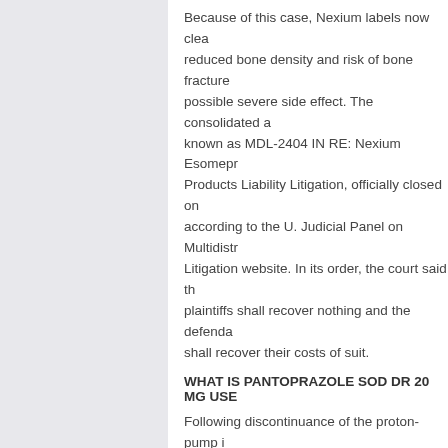Because of this case, Nexium labels now clear reduced bone density and risk of bone fracture possible severe side effect. The consolidated a known as MDL-2404 IN RE: Nexium Esomepr Products Liability Litigation, officially closed on according to the U. Judicial Panel on Multidistr Litigation website. In its order, the court said th plaintiffs shall recover nothing and the defenda shall recover their costs of suit.
WHAT IS PANTOPRAZOLE SOD DR 20 MG USE
Following discontinuance of the proton-pump i hypomagnesemia resolved within a median of week; upon rechallenge, hypomagnesemia rec within a median of 2 weeks. Other reported ad omeprazole versus protonix include paresthes muscle weakness, muscle cramps, lethargy, fa and unsteadiness.
In most patients, treatment of hypomagnesemi